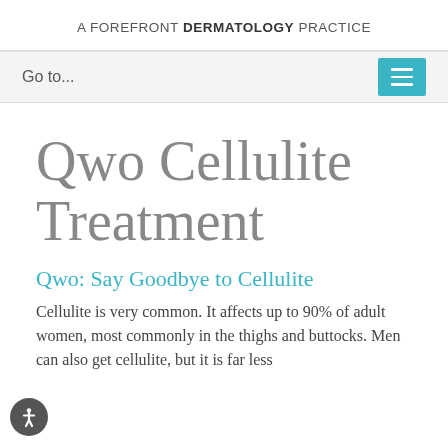A FOREFRONT DERMATOLOGY PRACTICE
Go to...
Qwo Cellulite Treatment
Qwo: Say Goodbye to Cellulite
Cellulite is very common. It affects up to 90% of adult women, most commonly in the thighs and buttocks. Men can also get cellulite, but it is far less